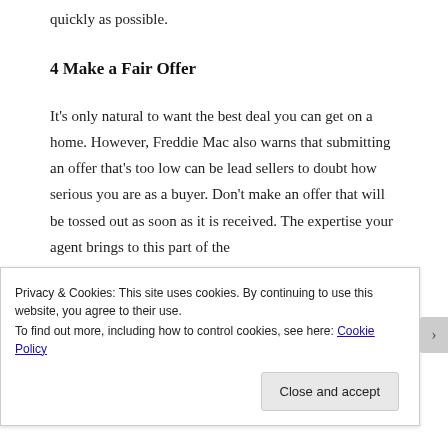quickly as possible.
4 Make a Fair Offer
It's only natural to want the best deal you can get on a home. However, Freddie Mac also warns that submitting an offer that's too low can be lead sellers to doubt how serious you are as a buyer. Don't make an offer that will be tossed out as soon as it is received. The expertise your agent brings to this part of the
Privacy & Cookies: This site uses cookies. By continuing to use this website, you agree to their use.
To find out more, including how to control cookies, see here: Cookie Policy
Close and accept